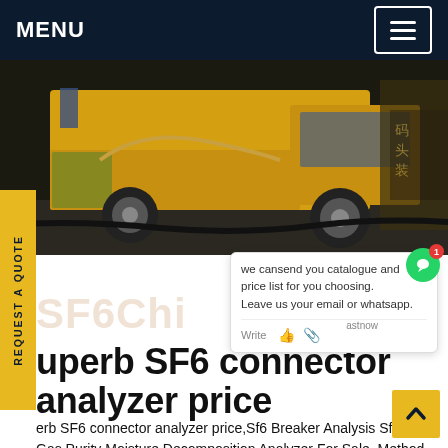MENU
[Figure (photo): Yellow truck parked in a warehouse or loading dock, side view showing cab and front axle area.]
we cansend you catalogue and price list for you choosing. Leave us your email or whatsapp.
Superb SF6 connector analyzer price
Superb SF6 connector analyzer price,Sf6 Breaker Analysis Sf6 Gas Purity Moisture Decomposition Analyzer For Sale. Method of measurement 1, Connect the SF6 equipment Threaded end of measuring line connected to the switch connector,